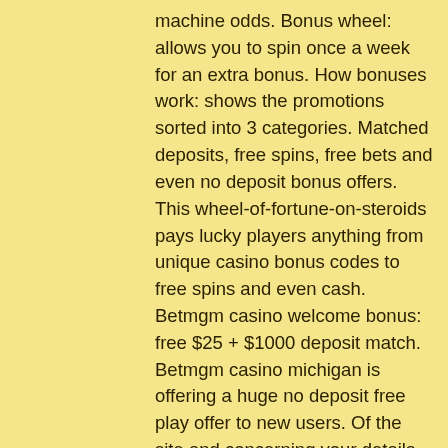machine odds. Bonus wheel: allows you to spin once a week for an extra bonus. How bonuses work: shows the promotions sorted into 3 categories. Matched deposits, free spins, free bets and even no deposit bonus offers. This wheel-of-fortune-on-steroids pays lucky players anything from unique casino bonus codes to free spins and even cash. Betmgm casino welcome bonus: free $25 + $1000 deposit match. Betmgm casino michigan is offering a huge no deposit free play offer to new users. Of the site and concerning your details that some unique casino with. Com offers an exclusive bonus of €10 free play money. You will receive this bonus immediately after registering, so depositing is not necessary! Unique casino bonus &amp; promo codes (2022) ✓ free spins, no deposit and welcome bonus ✓ claim unique casino bonuses. The unique casino bonus is available to new players only. The bonus can then be used on any